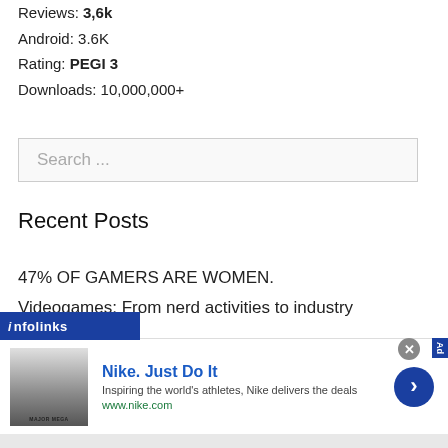Reviews: 3,6k
Android: 3.6K
Rating: PEGI 3
Downloads: 10,000,000+
[Figure (other): Search input box with placeholder text 'Search ...']
Recent Posts
47% OF GAMERS ARE WOMEN.
Videogames: From nerd activities to industry
[Figure (other): Infolinks branded bar overlay in dark blue]
[Figure (other): Nike advertisement banner: 'Nike. Just Do It' - Inspiring the world's athletes, Nike delivers the deals - www.nike.com]